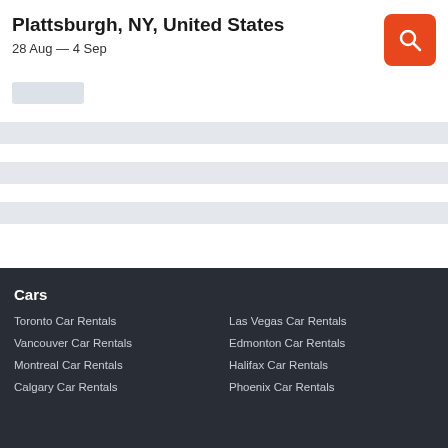Plattsburgh, NY, United States
28 Aug — 4 Sep
[Figure (screenshot): Orange search button with magnifying glass icon]
[Figure (other): Loading skeleton placeholder bars]
Cars
Toronto Car Rentals
Las Vegas Car Rentals
Vancouver Car Rentals
Edmonton Car Rentals
Montreal Car Rentals
Halifax Car Rentals
Calgary Car Rentals
Phoenix Car Rentals